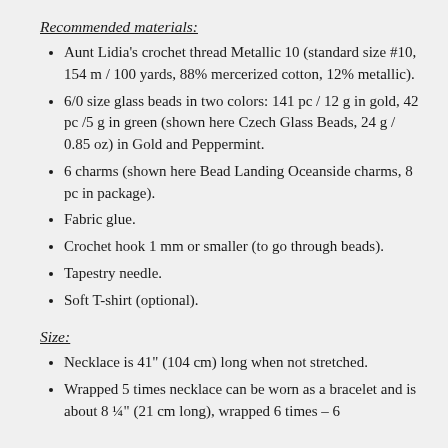Recommended materials:
Aunt Lidia's crochet thread Metallic 10 (standard size #10, 154 m / 100 yards, 88% mercerized cotton, 12% metallic).
6/0 size glass beads in two colors: 141 pc / 12 g in gold, 42 pc /5 g in green (shown here Czech Glass Beads, 24 g / 0.85 oz) in Gold and Peppermint.
6 charms (shown here Bead Landing Oceanside charms, 8 pc in package).
Fabric glue.
Crochet hook 1 mm or smaller (to go through beads).
Tapestry needle.
Soft T-shirt (optional).
Size:
Necklace is 41" (104 cm) long when not stretched.
Wrapped 5 times necklace can be worn as a bracelet and is about 8 ¼" (21 cm long), wrapped 6 times – 6